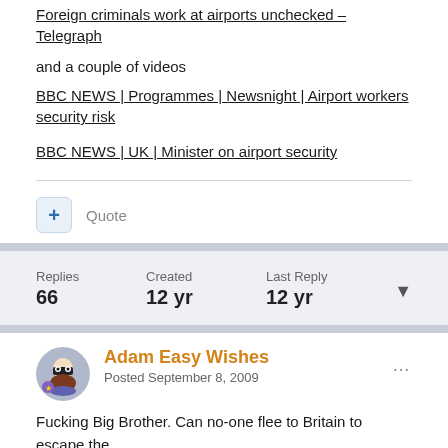Foreign criminals work at airports unchecked – Telegraph
and a couple of videos
BBC NEWS | Programmes | Newsnight | Airport workers security risk
BBC NEWS | UK | Minister on airport security
Quote
Replies 66  Created 12 yr  Last Reply 12 yr
Adam Easy Wishes
Posted September 8, 2009
Fucking Big Brother. Can no-one flee to Britain to escape the